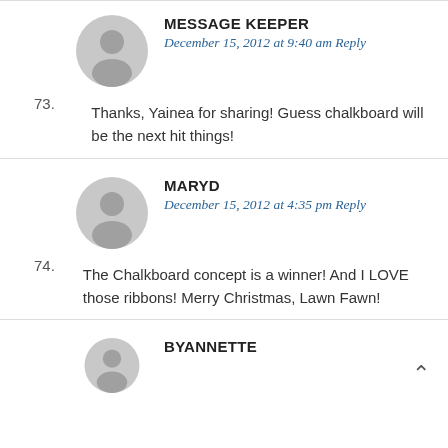73.
[Figure (illustration): Grey circular avatar placeholder for user Message Keeper]
MESSAGE KEEPER
December 15, 2012 at 9:40 am Reply
Thanks, Yainea for sharing! Guess chalkboard will be the next hit things!
74.
[Figure (illustration): Grey circular avatar placeholder for user MaryD]
MARYD
December 15, 2012 at 4:35 pm Reply
The Chalkboard concept is a winner! And I LOVE those ribbons! Merry Christmas, Lawn Fawn!
[Figure (illustration): Grey circular avatar placeholder for user ByAnnette (partially visible)]
BYANNETTE